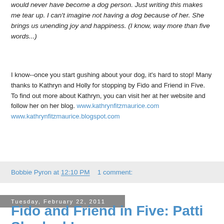would never have become a dog person. Just writing this makes me tear up. I can't imagine not having a dog because of her. She brings us unending joy and happiness. (I know, way more than five words...)
I know--once you start gushing about your dog, it's hard to stop! Many thanks to Kathryn and Holly for stopping by Fido and Friend in Five. To find out more about Kathryn, you can visit her at her website and follow her on her blog. www.kathrynfitzmaurice.com www.kathrynfitzmaurice.blogspot.com
Bobbie Pyron at 12:10 PM   1 comment:
Tuesday, February 22, 2011
Fido and Friend in Five: Patti Sherlock!
Okay, confession time: I love Patti Sherlock. She is wise and funny and inspiring and sassy. She loves poetry and can cook a mean bear roast. Yes dahling, I said bear. She's also one heck of a
[Figure (photo): Book cover image showing a wolf/husky dog face, titled 'Letters from Wolfie']